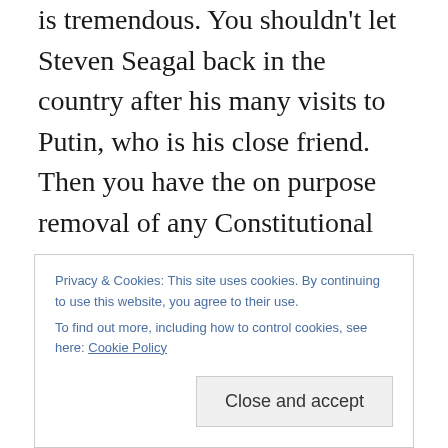is tremendous. You shouldn't let Steven Seagal back in the country after his many visits to Putin, who is his close friend. Then you have the on purpose removal of any Constitutional knowledge throughout the entire field of law enforcement at both the local and federal levels. They know case study law basics, but not the Constitution itself, which everybody should know == it's only four pages! We will see in the next year less community minded patrol cops and more of the turtle shell looking black, heavily armed ninja cops. That's not the way original law enforcement was designed to be. We see an increase of
Privacy & Cookies: This site uses cookies. By continuing to use this website, you agree to their use.
To find out more, including how to control cookies, see here: Cookie Policy
Close and accept